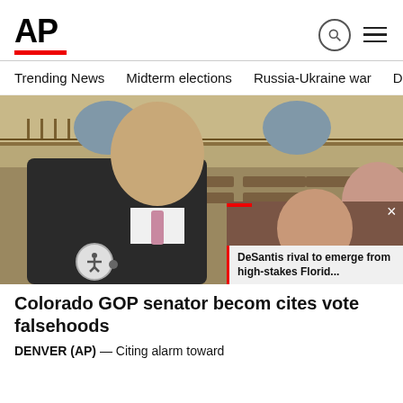AP
Trending News  Midterm elections  Russia-Ukraine war  Dona
[Figure (photo): Photo of a Colorado GOP senator and others standing in a legislative chamber. An inset picture-in-picture video overlay shows a woman smiling, with the text 'DeSantis rival to emerge from high-stakes Florid...']
Colorado GOP senator becom cites vote falsehoods
DENVER (AP) — Citing alarm toward